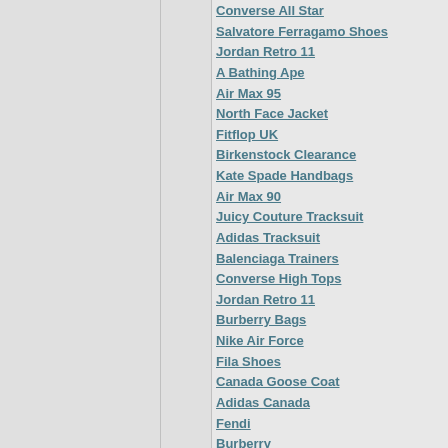Converse All Star
Salvatore Ferragamo Shoes
Jordan Retro 11
A Bathing Ape
Air Max 95
North Face Jacket
Fitflop UK
Birkenstock Clearance
Kate Spade Handbags
Air Max 90
Juicy Couture Tracksuit
Adidas Tracksuit
Balenciaga Trainers
Converse High Tops
Jordan Retro 11
Burberry Bags
Nike Air Force
Fila Shoes
Canada Goose Coat
Adidas Canada
Fendi
Burberry
Louboutin
Golden Goose
Merrell Shoes
Brooks Tennis Shoes
Mizuno
Fitflop Sandals
Asics Running Shoes
Clarks Shoes
Giuseppe Zanotti
Michael Kors Handbags
Champion Sweatshirt
Hydro Flask UK
Kate Spade Handbags
Ecco
Canada Goose